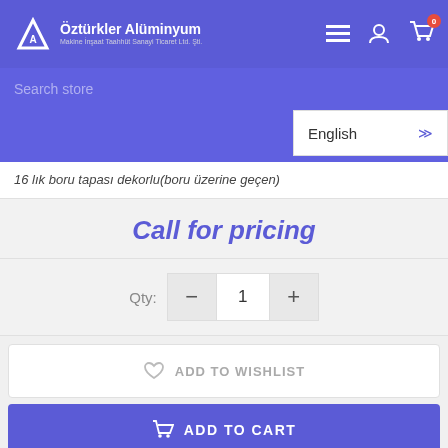Öztürkler Alüminyum - Makine İnşaat Taahhüt Sanayi Ticaret Ltd. Şti.
Search store
English
16 lık boru tapası dekorlu(boru üzerine geçen)
Call for pricing
Qty: 1
ADD TO WISHLIST
ADD TO CART